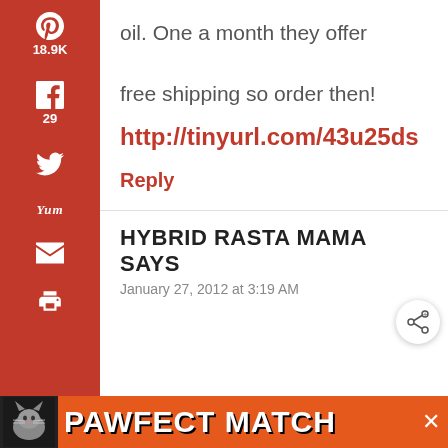oil. One a month they offer

free shipping so order then!
http://tinyurl.com/43u25ds
Reply
HYBRID RASTA MAMA SAYS
January 27, 2012 at 3:19 AM
[Figure (screenshot): PAWFECT MATCH advertisement banner at bottom with cat image and orange background]